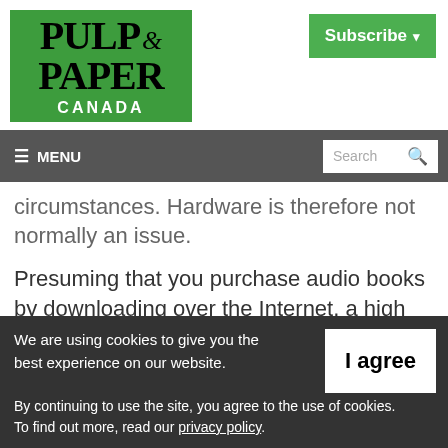[Figure (logo): Pulp & Paper Canada logo on green background with white CANADA text]
[Figure (other): Subscribe button with dropdown arrow, green background]
≡ MENU    Search
circumstances. Hardware is therefore not normally an issue.
Presuming that you purchase audio books by downloading over the Internet, a high speed
We are using cookies to give you the best experience on our website.
By continuing to use the site, you agree to the use of cookies.
To find out more, read our privacy policy.